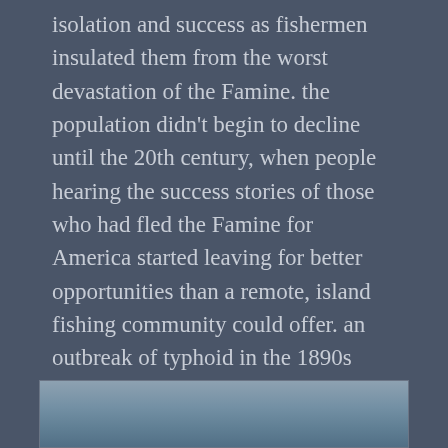isolation and success as fishermen insulated them from the worst devastation of the Famine. the population didn't begin to decline until the 20th century, when people hearing the success stories of those who had fled the Famine for America started leaving for better opportunities than a remote, island fishing community could offer. an outbreak of typhoid in the 1890s affected population as well. in the early 20th century, the government offered improvements, such as building a breakwater and new slipway; all the same, trips to and from the mainland still required adequate weather.
[Figure (photo): Partial view of a photograph showing a pale sky and water or landscape, partially visible at the bottom of the page inside a bordered frame.]